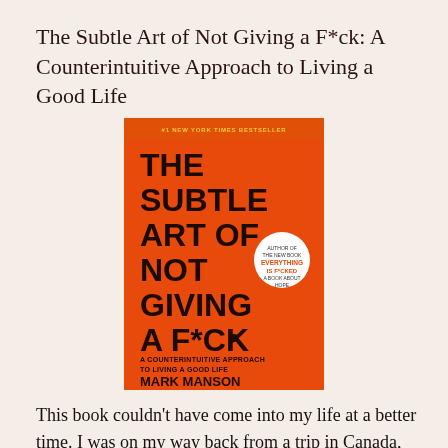The Subtle Art of Not Giving a F*ck: A Counterintuitive Approach to Living a Good Life
[Figure (photo): Book cover of 'The Subtle Art of Not Giving a F*ck' by Mark Manson. Orange background with large bold black text reading THE SUBTLE ART OF NOT GIVING A F*CK. Subtitle: A COUNTERINTUITIVE APPROACH TO LIVING A GOOD LIFE. Author: MARK MANSON. A small white circular badge references 'EVERYTHING IS F*CKED A BOOK ABOUT HOPE'. At the top: #1 NEW YORK TIMES BESTSELLER in small gold text on an orange banner.]
This book couldn't have come into my life at a better time. I was on my way back from a trip in Canada, feeling a little unenthusiastic to head home to Barcelona for a year, which I said I'd give it a try.